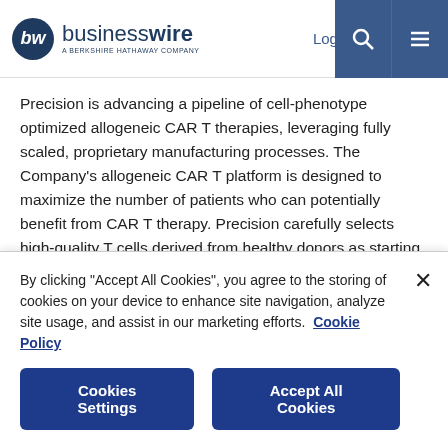businesswire — A BERKSHIRE HATHAWAY COMPANY | Log In | Sign Up
Precision is advancing a pipeline of cell-phenotype optimized allogeneic CAR T therapies, leveraging fully scaled, proprietary manufacturing processes. The Company's allogeneic CAR T platform is designed to maximize the number of patients who can potentially benefit from CAR T therapy. Precision carefully selects high-quality T cells derived from healthy donors as starting material, then uses its ARCUS genome editing technology to modify the cells via a single-step engineering process. By inserting the CAR gene at the T cell receptor (TCR) locus, this process knocks in the CAR
By clicking "Accept All Cookies", you agree to the storing of cookies on your device to enhance site navigation, analyze site usage, and assist in our marketing efforts. Cookie Policy
Cookies Settings | Accept All Cookies